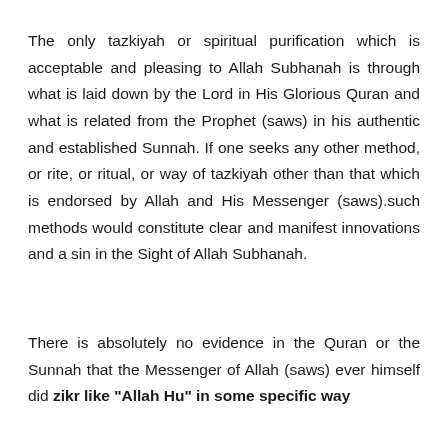The only tazkiyah or spiritual purification which is acceptable and pleasing to Allah Subhanah is through what is laid down by the Lord in His Glorious Quran and what is related from the Prophet (saws) in his authentic and established Sunnah. If one seeks any other method, or rite, or ritual, or way of tazkiyah other than that which is endorsed by Allah and His Messenger (saws).such methods would constitute clear and manifest innovations and a sin in the Sight of Allah Subhanah.
There is absolutely no evidence in the Quran or the Sunnah that the Messenger of Allah (saws) ever himself did zikr like "Allah Hu" in some specific way